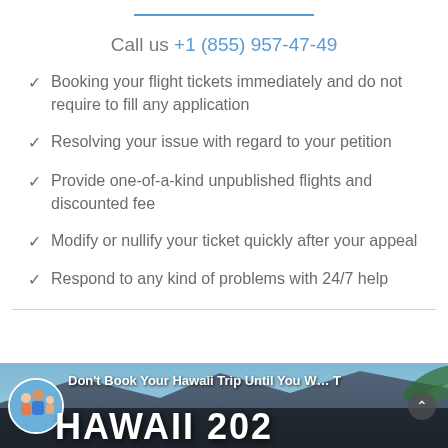Call us +1 (855) 957-47-49
Booking your flight tickets immediately and do not require to fill any application
Resolving your issue with regard to your petition
Provide one-of-a-kind unpublished flights and discounted fee
Modify or nullify your ticket quickly after your appeal
Respond to any kind of problems with 24/7 help
[Figure (screenshot): Video thumbnail showing 'Don't Book Your Hawaii Trip Until You W[atch T]his' with a family avatar circle and HAWAII text overlay]